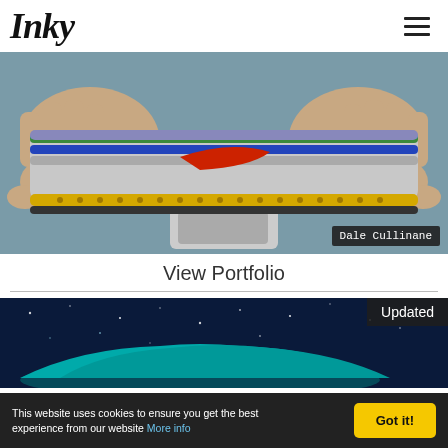Inky
[Figure (illustration): Digital illustration of hands holding a Nike sneaker (Nike Air Max 97 style), viewed from above. The shoe shows colorful stripes in blue, green, and grey, with a gold/yellow midsole stripe and a red Nike swoosh. The hands are drawn in a cartoon/vector style.]
Dale Cullinane
View Portfolio
[Figure (illustration): Digital illustration of a dark blue starry night sky scene, partially visible, with a teal/cyan colored car silhouette at the bottom. The top right corner shows a badge reading 'Updated'.]
This website uses cookies to ensure you get the best experience from our website More info
Got it!